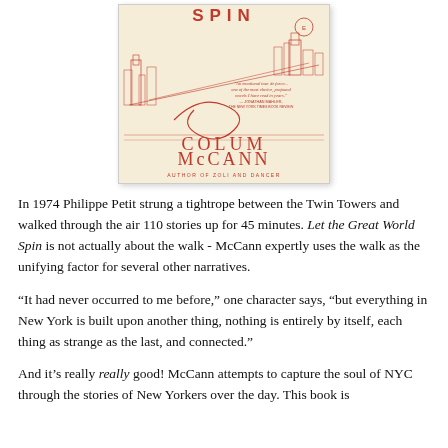[Figure (illustration): Book cover of 'Let the Great World Spin' by Colum McCann. Cream/beige background with red line-art illustration of New York City skyline and bridges. Text reads 'SPIN' at top, quote from Jonathan Mahler / The New York Times Book Review, large author name 'COLUM McCANN', and 'AUTHOR OF ZOLI AND DANCER' at bottom.]
In 1974 Philippe Petit strung a tightrope between the Twin Towers and walked through the air 110 stories up for 45 minutes. Let the Great World Spin is not actually about the walk - McCann expertly uses the walk as the unifying factor for several other narratives.
“It had never occurred to me before,” one character says, “but everything in New York is built upon another thing, nothing is entirely by itself, each thing as strange as the last, and connected.”
And it’s really really good! McCann attempts to capture the soul of NYC through the stories of New Yorkers over the day. This book is